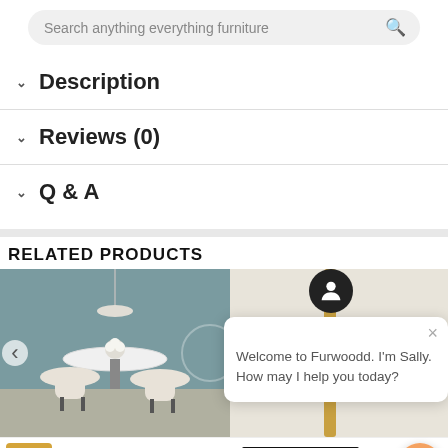Search anything everything furniture
Description
Reviews (0)
Q & A
RELATED PRODUCTS
[Figure (photo): Photo of two white upholstered bar chairs at a round table in a teal-walled room]
[Figure (photo): Partial view of a product with gold and white finish]
Welcome to Furwoodd. I'm Sally. How may I help you today?
GHS349.00
1
ADD TO CART